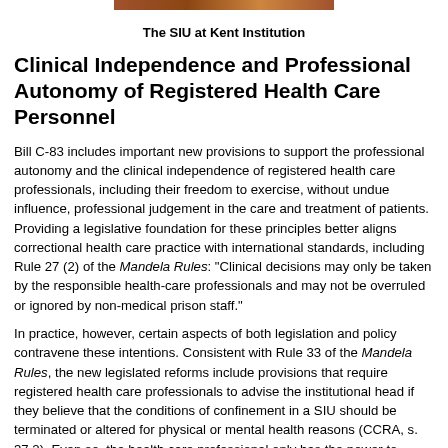[Figure (photo): Partial image strip at top of page, appears to be a photograph]
The SIU at Kent Institution
Clinical Independence and Professional Autonomy of Registered Health Care Personnel
Bill C-83 includes important new provisions to support the professional autonomy and the clinical independence of registered health care professionals, including their freedom to exercise, without undue influence, professional judgement in the care and treatment of patients. Providing a legislative foundation for these principles better aligns correctional health care practice with international standards, including Rule 27 (2) of the Mandela Rules: “Clinical decisions may only be taken by the responsible health-care professionals and may not be overruled or ignored by non-medical prison staff.”
In practice, however, certain aspects of both legislation and policy contravene these intentions. Consistent with Rule 33 of the Mandela Rules, the new legislated reforms include provisions that require registered health care professionals to advise the institutional head if they believe that the conditions of confinement in a SIU should be terminated or altered for physical or mental health reasons (CCRA, s. 37.2). Even so, the health care professional only has the power to recommend. The authority to accept or reject the advice of the registered health care professional resides with the Warden. The clinical recommendations are subject to overrule by a form of